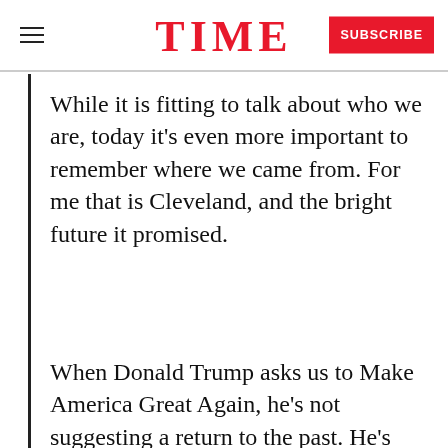TIME
While it is fitting to talk about who we are, today it's even more important to remember where we came from. For me that is Cleveland, and the bright future it promised.
When Donald Trump asks us to Make America Great Again, he's not suggesting a return to the past. He's running to lead us back to that bright
READ NEXT
Watch Republican Delegates Imitate Donald Trump